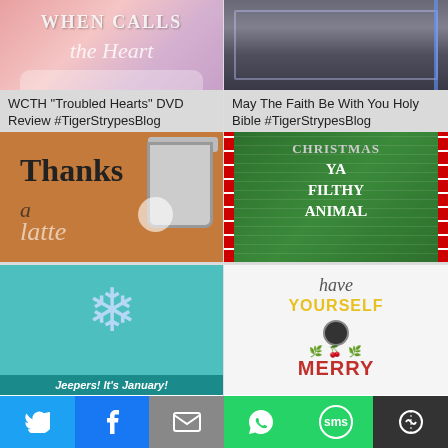[Figure (photo): WCTH When Calls the Heart DVD cover image with pink background]
WCTH "Troubled Hearts" DVD Review #TigerStrypesBlog
[Figure (photo): Holy Bible book with dark background]
May The Faith Be With You Holy Bible #TigerStrypesBlog
[Figure (photo): Thanks a Latte coffee cup on brown doormat background]
Welcome to the Thanks a Latte Giveaway Hop #TigerStrypesBlog
[Figure (photo): Christmas Ya Filthy Animal ugly Christmas sweater in green]
Guess What? It's Ugly Christmas Sweater Season! #TigerStrypesBlog
[Figure (photo): Jeepers It's January blog giveaway hop with snowflake on teal background]
Jeepers It's January Blog Giveaway Hop
[Figure (photo): Have Yourself a Merry Little Christmas giveaway hop card]
Have Yourself a Merry Little Giveaway Hop
Twitter | Facebook | Email | WhatsApp | SMS | More